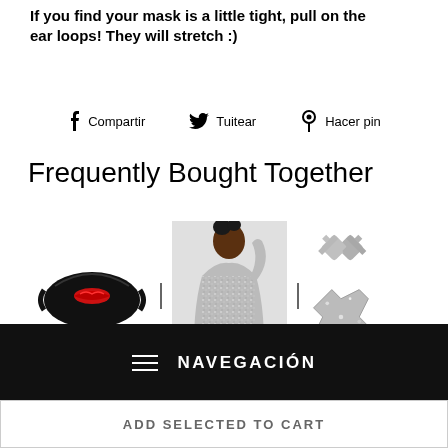If you find your mask is a little tight, pull on the ear loops! They will stretch :)
Compartir   Tuitear   Hacer pin
Frequently Bought Together
[Figure (photo): Three product images side by side: a black face mask with red lips print, a person wearing a silver glitter bodysuit, and silver glitter cross-shaped pasties, separated by vertical bar dividers.]
≡ NAVEGACIÓN
ADD SELECTED TO CART